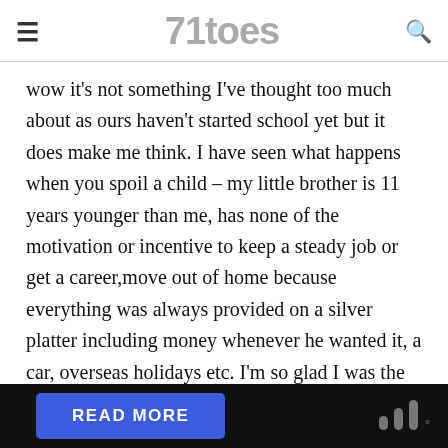71toes
wow it's not something I've thought too much about as ours haven't started school yet but it does make me think. I have seen what happens when you spoil a child – my little brother is 11 years younger than me, has none of the motivation or incentive to keep a steady job or get a career,move out of home because everything was always provided on a silver platter including money whenever he wanted it, a car, overseas holidays etc. I'm so glad I was the eldest and worked hard for everything in my life as it has led to success in so many aspects of my life. Same goes for my sister too.
now with college, in australia we don't seem to have the same tradition of paying for our children's college/uni fees. But our fees aren't as … my own by … children's …